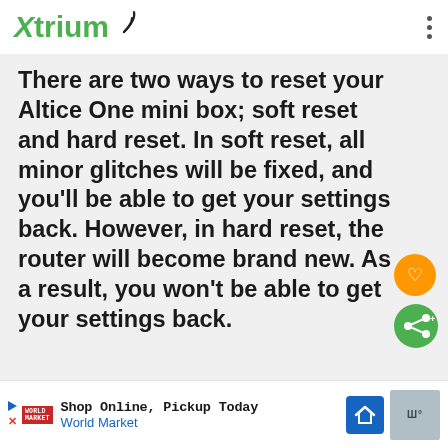Xtrium
There are two ways to reset your Altice One mini box; soft reset and hard reset. In soft reset, all minor glitches will be fixed, and you'll be able to get your settings back. However, in hard reset, the router will become brand new. As a result, you won't be able to get your settings back.
[Figure (infographic): Orange circular like/heart button and green circular share button on the right side]
Shop Online, Pickup Today
World Market